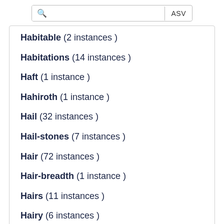Habitable (2 instances )
Habitations (14 instances )
Haft (1 instance )
Hahiroth (1 instance )
Hail (32 instances )
Hail-stones (7 instances )
Hair (72 instances )
Hair-breadth (1 instance )
Hairs (11 instances )
Hairy (6 instances )